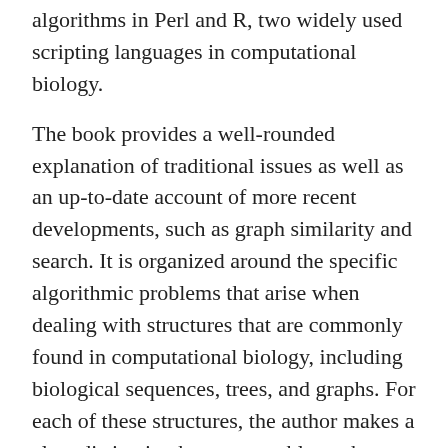algorithms in Perl and R, two widely used scripting languages in computational biology.
The book provides a well-rounded explanation of traditional issues as well as an up-to-date account of more recent developments, such as graph similarity and search. It is organized around the specific algorithmic problems that arise when dealing with structures that are commonly found in computational biology, including biological sequences, trees, and graphs. For each of these structures, the author makes a clear distinction between problems that arise in the analysis of one structure and in the comparative analysis of two or more structures. He also presents phylogenetic trees and networks as examples of trees and graphs in computational biology.
This book supplies a comprehensive view of the whole field of combinatorial pattern matching from a computational biology perspective. Along with thorough discussions of each biological problem, it